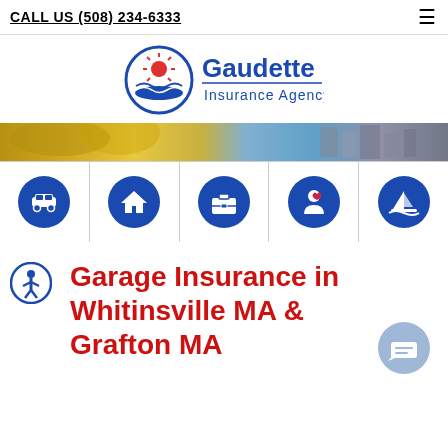CALL US (508) 234-6333
[Figure (logo): Gaudette Insurance Agency logo with sun and waves icon in blue circle and company name in blue text]
[Figure (photo): Hero banner photo showing outdoor scene with yellow flowers on left and city buildings on right]
[Figure (infographic): Five blue circle icons representing insurance categories: auto (car), home (house), business (briefcase), health/life (person with heart), marine (sailboat)]
Garage Insurance in Whitinsville MA & Grafton MA